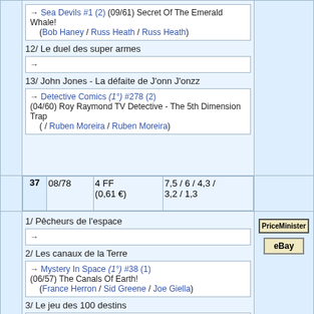→ Sea Devils #1 (2) (09/61) Secret Of The Emerald Whale! (Bob Haney / Russ Heath / Russ Heath)
12/ Le duel des super armes
→
13/ John Jones - La défaite de J'onn J'onzz
→ Detective Comics (1°) #278 (2) (04/60) Roy Raymond TV Detective - The 5th Dimension Trap ( / Ruben Moreira / Ruben Moreira)
| 37 | 08/78 | 4 FF (0,61 €) | 7,5 / 6 / 4,3 / 3,2 / 1,3 |
1/ Pêcheurs de l'espace
→
2/ Les canaux de la Terre
→ Mystery In Space (1°) #38 (1) (06/57) The Canals Of Earth! (France Herron / Sid Greene / Joe Giella)
3/ Le jeu des 100 destins
→ House Of Mystery (1°) #107 (3) (02/61) The Game Of 100 Dooms ( / Nick Cardy / Nick Cardy)
4/ Moderne Méduse
PriceMinister
eBay